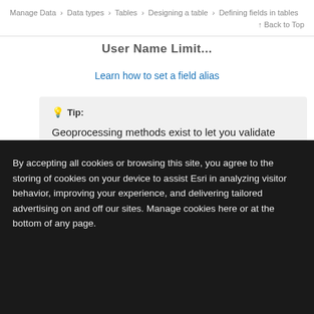Manage Data > Data types > Tables > Designing a table > Defining fields in tables    Back to Top
User Name Limit...
Learn how to set a field alias
💡 Tip:

Geoprocessing methods exist to let you validate table and field names. See Working with geodatabases in Python for
By accepting all cookies or browsing this site, you agree to the storing of cookies on your device to assist Esri in analyzing visitor behavior, improving your experience, and delivering tailored advertising on and off our sites. Manage cookies here or at the bottom of any page.